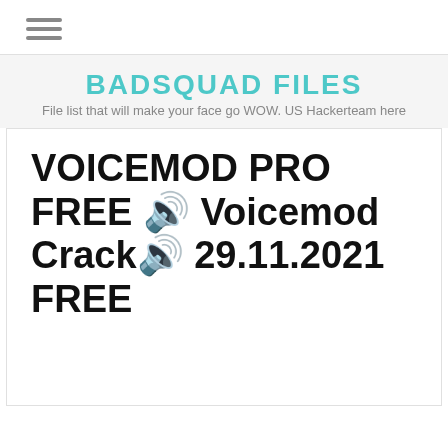[Figure (other): Hamburger menu icon with three horizontal lines]
BADSQUAD FILES
File list that will make your face go WOW. US Hackerteam here
VOICEMOD PRO FREE 🔊 Voicemod Crack🔊 29.11.2021 FREE